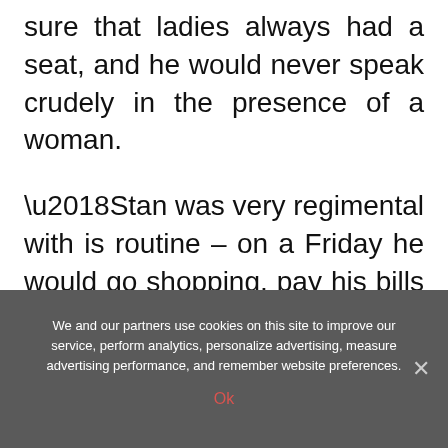sure that ladies always had a seat, and he would never speak crudely in the presence of a woman.
‘Stan was very regimental with is routine – on a Friday he would go shopping, pay his bills and get a taxi to the pub, where he had his own bar stool and his own glass.’
We and our partners use cookies on this site to improve our service, perform analytics, personalize advertising, measure advertising performance, and remember website preferences.
Ok